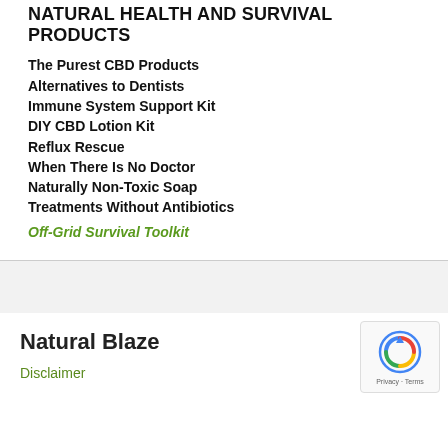NATURAL HEALTH AND SURVIVAL PRODUCTS
The Purest CBD Products
Alternatives to Dentists
Immune System Support Kit
DIY CBD Lotion Kit
Reflux Rescue
When There Is No Doctor
Naturally Non-Toxic Soap
Treatments Without Antibiotics
Off-Grid Survival Toolkit
Natural Blaze
Disclaimer